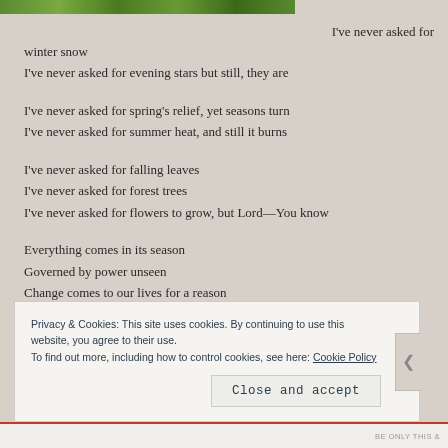[Figure (photo): A partial green landscape/nature photo cropped at the top of the page]
I've never asked for winter snow
I've never asked for evening stars but still, they are

I've never asked for spring's relief, yet seasons turn
I've never asked for summer heat, and still it burns

I've never asked for falling leaves
I've never asked for forest trees
I've never asked for flowers to grow, but Lord—You know

Everything comes in its season
Governed by power unseen
Change comes to our lives for a reason
Privacy & Cookies: This site uses cookies. By continuing to use this website, you agree to their use.
To find out more, including how to control cookies, see here: Cookie Policy
Close and accept